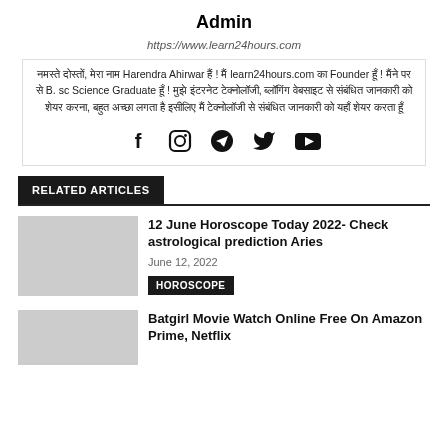Admin
https://www.learn24hours.com
नमस्ते दोस्तों, मेरा नाम Harendra Ahirwar हैं ! मैं learn24hours.com का Founder हूँ ! मैंने पर से B. sc Science Graduate हूँ ! मुझे इंटरनेट टेक्नोलॉजी, ब्लॉगिंग वेबसाइट से संबंधित जानकारी को शेयर करना, बहुत अच्छा लगता है इसीलिए मैं टेक्नोलॉजी से संबंधित जानकारी को यहाँ शेयर करता हूँ
[Figure (infographic): Social media icons: Facebook, Instagram, Telegram, Twitter, YouTube]
RELATED ARTICLES
12 June Horoscope Today 2022- Check astrological prediction Aries
June 12, 2022
HOROSCOPE
Batgirl Movie Watch Online Free On Amazon Prime, Netflix